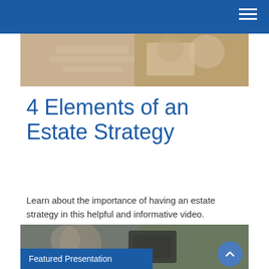[Figure (photo): People sitting at a table reviewing documents, cropped to show hands and papers on a wooden table surface.]
4 Elements of an Estate Strategy
Learn about the importance of having an estate strategy in this helpful and informative video.
[Figure (screenshot): Video thumbnail showing a person and a tablet screen with 'Estimating Your Estate Taxes' text. A blue banner reads 'Featured Presentation'. A blue circular scroll-up button is visible on the right.]